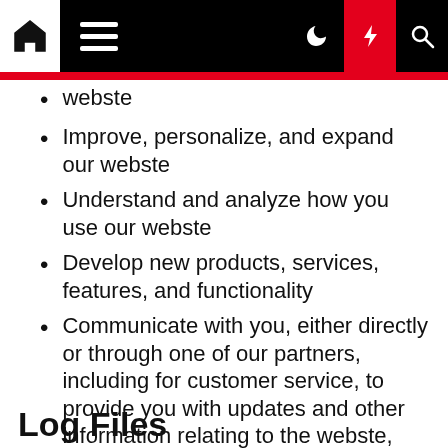webste
Improve, personalize, and expand our webste
Understand and analyze how you use our webste
Develop new products, services, features, and functionality
Communicate with you, either directly or through one of our partners, including for customer service, to provide you with updates and other information relating to the webste, and for marketing and promotional purposes
Send you emails
Find and prevent fraud
Log Files